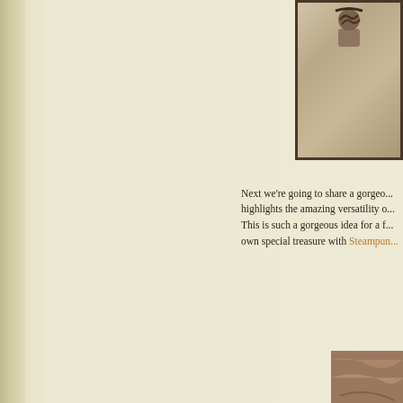[Figure (photo): Partial photo at top right showing what appears to be a steampunk or craft item with rope/chain detail, partially cropped, with dark brown border frame]
Next we're going to share a gorgeous project that highlights the amazing versatility of ... This is such a gorgeous idea for a f... own special treasure with Steampun...
[Figure (photo): Partial photo at bottom right showing a brown textured craft or steampunk item, cropped]